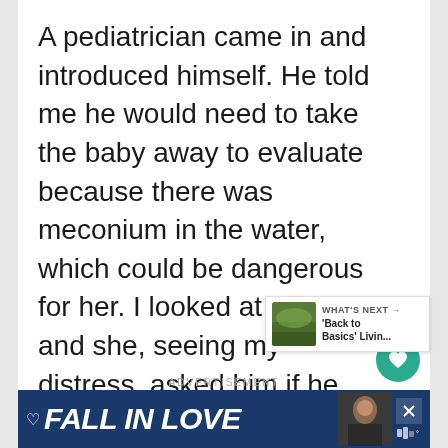A pediatrician came in and introduced himself. He told me he would need to take the baby away to evaluate because there was meconium in the water, which could be dangerous for her. I looked at Kate and she, seeing my distress, asked him if he could evaluate the baby while she was on my chest but he refused.
[Figure (screenshot): WHAT'S NEXT widget showing thumbnail image and text 'Back to Basics' Livin...]
ADVERTISEMENT
[Figure (screenshot): Advertisement banner with dark blue background showing 'FALL IN LOVE' text in bold italic white letters with a person photo]